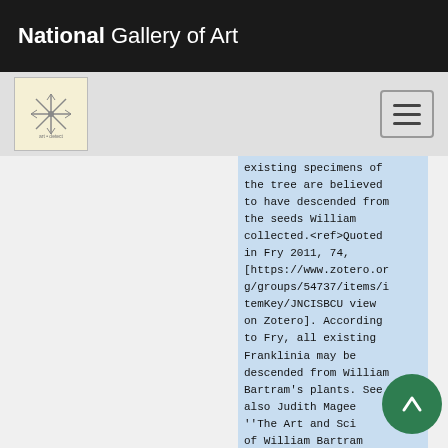National Gallery of Art
existing specimens of the tree are believed to have descended from the seeds William collected.<ref>Quoted in Fry 2011, 74, [https://www.zotero.org/groups/54737/items/itemKey/JNCISBCU view on Zotero]. According to Fry, all existing Franklinia may be descended from William Bartram's plants. See also Judith Magee ''The Art and Sci of William Bartram (University Park: The